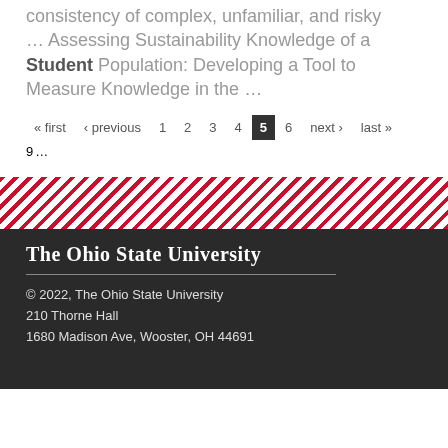consistency of complex, unfamiliar, and risky ... Assessing Sustainability Knowledge of a Student Population: Developing a Tool to Measure Knowledge in the ...
« first ‹ previous 1 2 3 4 5 6 next › last » 9 ...
[Figure (other): Diagonal red and white stripe decorative bar]
© 2022, The Ohio State University
210 Thorne Hall
1680 Madison Ave, Wooster, OH 44691